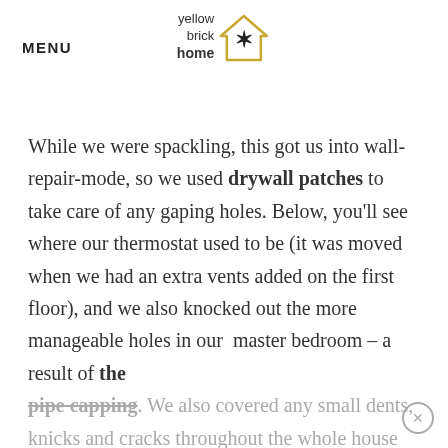MENU
[Figure (logo): Yellow Brick Home logo — text 'yellow brick home' next to a gold house outline with a black star inside]
While we were spackling, this got us into wall-repair-mode, so we used drywall patches to take care of any gaping holes. Below, you'll see where our thermostat used to be (it was moved when we had an extra vents added on the first floor), and we also knocked out the more manageable holes in our  master bedroom – a result of the pipe capping. We also covered any small dents, knicks and cracks throughout the whole house